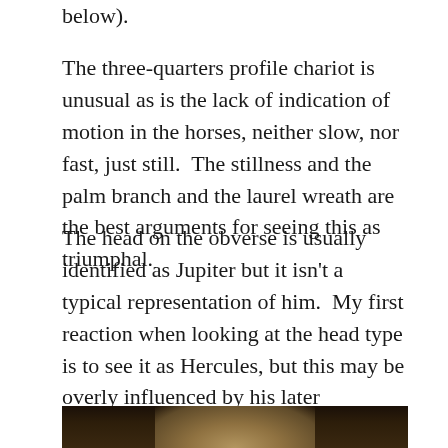below).
The three-quarters profile chariot is unusual as is the lack of indication of motion in the horses, neither slow, nor fast, just still.  The stillness and the palm branch and the laurel wreath are the best arguments for seeing this as triumphal.
The head on the obverse is usually identified as Jupiter but it isn’t a typical representation of him.  My first reaction when looking at the head type is to see it as Hercules, but this may be overly influenced by his later iconography during the high empire.  This sort of image:
[Figure (photo): Partial view of a classical sculpture head/bust shown against a dark background, depicting a bearded figure.]